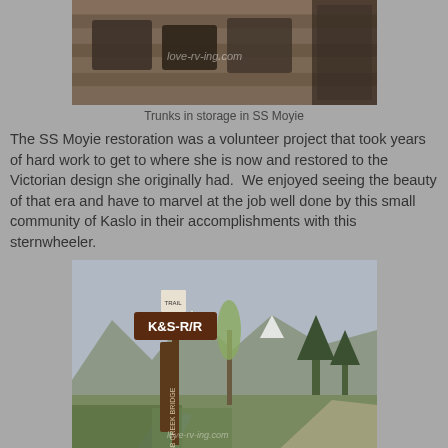[Figure (photo): Photograph of trunks in storage inside SS Moyie, showing wooden planks and old trunk containers.]
Trunks in storage in SS Moyie
The SS Moyie restoration was a volunteer project that took years of hard work to get to where she is now and restored to the Victorian design she originally had.  We enjoyed seeing the beauty of that era and have to marvel at the job well done by this small community of Kaslo in their accomplishments with this sternwheeler.
[Figure (photo): Photograph of Kaslo River area with a railway sign reading K&S-R/R Robb Creek Bridge, with mountains and trees in the background.]
Kaslo River follows Hwy 31A